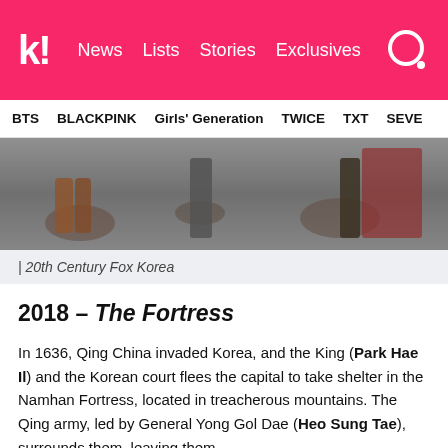k! News  Lists  Stories  Exclusives
BTS  BLACKPINK  Girls' Generation  TWICE  TXT  SEVE
[Figure (photo): Muddy ground scene with people in boots and dark clothing]
| 20th Century Fox Korea
2018 – The Fortress
In 1636, Qing China invaded Korea, and the King (Park Hae Il) and the Korean court flees the capital to take shelter in the Namhan Fortress, located in treacherous mountains. The Qing army, led by General Yong Gol Dae (Heo Sung Tae), surrounds them, leaving them